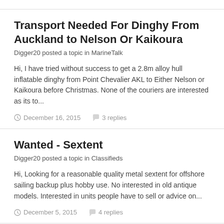Transport Needed For Dinghy From Auckland to Nelson Or Kaikoura
Digger20 posted a topic in MarineTalk
Hi, I have tried without success to get a 2.8m alloy hull inflatable dinghy from Point Chevalier AKL to Either Nelson or Kaikoura before Christmas. None of the couriers are interested as its to...
December 16, 2015   3 replies
Wanted - Sextent
Digger20 posted a topic in Classifieds
Hi, Looking for a reasonable quality metal sextent for offshore sailing backup plus hobby use. No interested in old antique models. Interested in units people have to sell or advice on...
December 5, 2015   4 replies